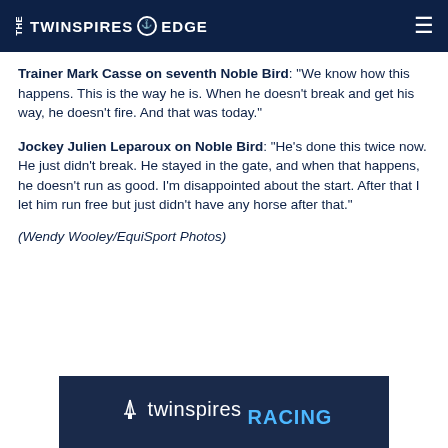THE TWINSPIRES EDGE
Trainer Mark Casse on seventh Noble Bird: “We know how this happens. This is the way he is. When he doesn’t break and get his way, he doesn’t fire. And that was today.”
Jockey Julien Leparoux on Noble Bird: “He’s done this twice now. He just didn’t break. He stayed in the gate, and when that happens, he doesn’t run as good. I’m disappointed about the start. After that I let him run free but just didn’t have any horse after that.”
(Wendy Wooley/EquiSport Photos)
[Figure (logo): TwinSpires Racing advertisement banner with white and blue text on dark navy background]